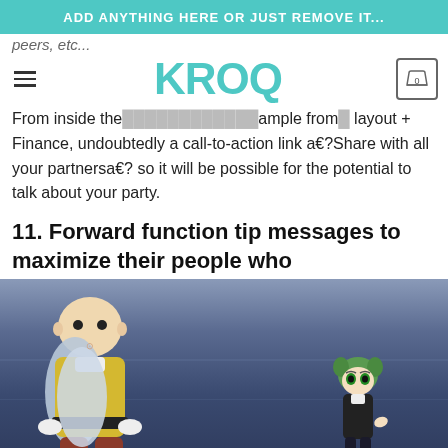ADD ANYTHING HERE OR JUST REMOVE IT...
[Figure (logo): KROQ logo in teal/turquoise color with hamburger menu icon on left and cart icon with 0 on right]
peers, etc...
From inside the... ...ample from... layout + Finance, undoubtedly a call-to-action link a€?Share with all your partnersa€? so it will be possible for the potential to talk about your party.
11. Forward function tip messages to maximize their people who
[Figure (illustration): Anime scene showing two characters: a bald muscular character in yellow suit with cape (Saitama from One Punch Man) on the left, and a small green-haired character in black outfit (Tatsumaki) on the right, against a dark blue indoor background with wall panels and floor]